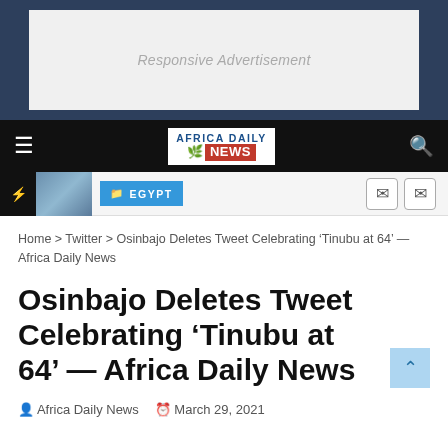[Figure (other): Responsive Advertisement placeholder box with light gray background]
Africa Daily News — navigation bar with hamburger menu, logo, and search icon
EGYPT ticker bar with flash icon and navigation controls
Home > Twitter > Osinbajo Deletes Tweet Celebrating 'Tinubu at 64' — Africa Daily News
Osinbajo Deletes Tweet Celebrating 'Tinubu at 64' — Africa Daily News
Africa Daily News   March 29, 2021